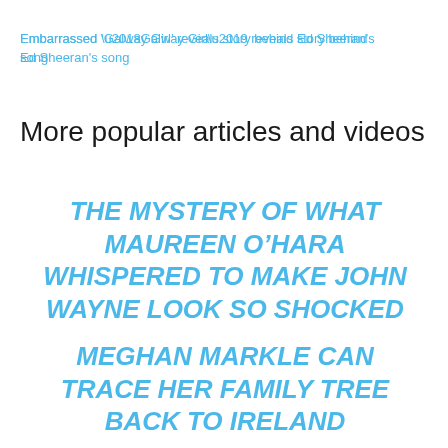Embarrassed ‘Galway Girl’ reveals story behind Ed Sheeran's song
More popular articles and videos
THE MYSTERY OF WHAT MAUREEN O’HARA WHISPERED TO MAKE JOHN WAYNE LOOK SO SHOCKED
MEGHAN MARKLE CAN TRACE HER FAMILY TREE BACK TO IRELAND